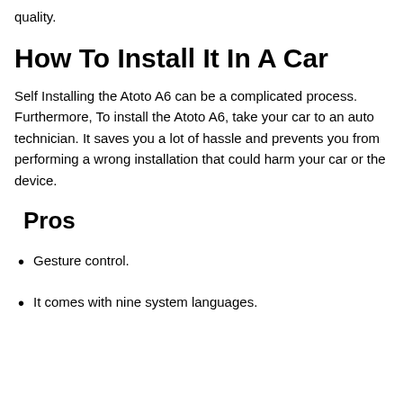quality.
How To Install It In A Car
Self Installing the Atoto A6 can be a complicated process. Furthermore, To install the Atoto A6, take your car to an auto technician. It saves you a lot of hassle and prevents you from performing a wrong installation that could harm your car or the device.
Pros
Gesture control.
It comes with nine system languages.